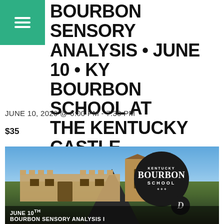BOURBON SENSORY ANALYSIS • JUNE 10 • KY BOURBON SCHOOL AT THE KENTUCKY CASTLE
JUNE 10, 2020 @ 6:00 PM - 7:30 PM
$35
[Figure (photo): Photo of The Kentucky Castle with Kentucky Bourbon School circular logo overlaid, showing a castle building in the background, a hand holding a bourbon glass in the foreground, with text 'JUNE 10TH BOURBON SENSORY ANALYSIS I' at the bottom]